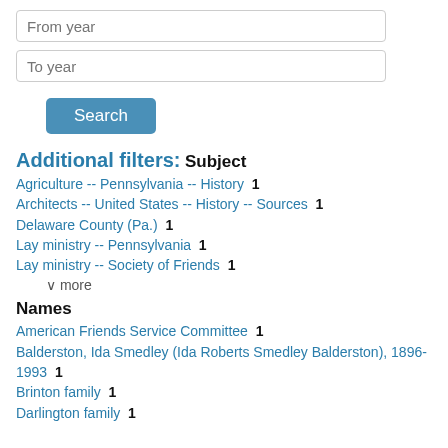From year
To year
Search
Additional filters:
Subject
Agriculture -- Pennsylvania -- History  1
Architects -- United States -- History -- Sources  1
Delaware County (Pa.)  1
Lay ministry -- Pennsylvania  1
Lay ministry -- Society of Friends  1
∨ more
Names
American Friends Service Committee  1
Balderston, Ida Smedley (Ida Roberts Smedley Balderston), 1896-1993  1
Brinton family  1
Darlington family  1